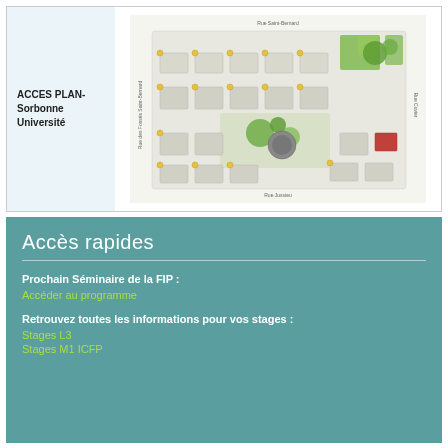ACCES PLAN-
Sorbonne Université
[Figure (map): Campus map of Sorbonne Université showing buildings, green spaces, and surrounding streets including Rue Saint-Bernard and Rue Cuvier, with Rue Jussieu at the bottom.]
Accès rapides
Prochain Séminaire de la FIP :
Accéder au programme
Retrouvez toutes les informations pour vos stages :
Stages L3
Stages M1 ICFP